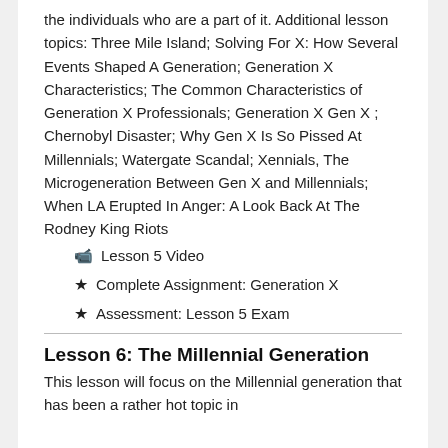the individuals who are a part of it. Additional lesson topics: Three Mile Island; Solving For X: How Several Events Shaped A Generation; Generation X Characteristics; The Common Characteristics of Generation X Professionals; Generation X Gen X ; Chernobyl Disaster; Why Gen X Is So Pissed At Millennials; Watergate Scandal; Xennials, The Microgeneration Between Gen X and Millennials; When LA Erupted In Anger: A Look Back At The Rodney King Riots
Lesson 5 Video
Complete Assignment: Generation X
Assessment: Lesson 5 Exam
Lesson 6: The Millennial Generation
This lesson will focus on the Millennial generation that has been a rather hot topic in